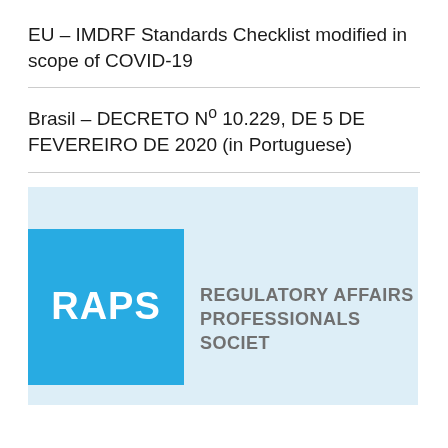EU – IMDRF Standards Checklist modified in scope of COVID-19
Brasil – DECRETO Nº 10.229, DE 5 DE FEVEREIRO DE 2020 (in Portuguese)
[Figure (logo): RAPS – Regulatory Affairs Professionals Society logo on a light blue background. A teal/blue square contains the text 'RAPS' in white bold letters. To the right, the text 'REGULATORY AFFAIRS PROFESSIONALS SOCIET' appears in grey capital letters.]